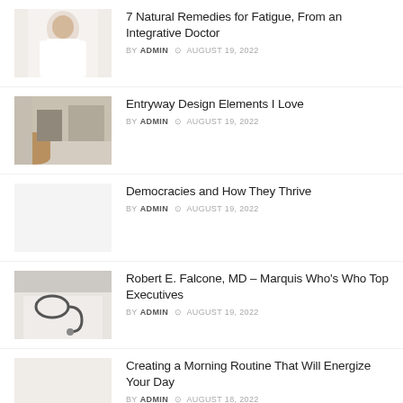7 Natural Remedies for Fatigue, From an Integrative Doctor — BY ADMIN — AUGUST 19, 2022
Entryway Design Elements I Love — BY ADMIN — AUGUST 19, 2022
Democracies and How They Thrive — BY ADMIN — AUGUST 19, 2022
Robert E. Falcone, MD – Marquis Who's Who Top Executives — BY ADMIN — AUGUST 19, 2022
Creating a Morning Routine That Will Energize Your Day — BY ADMIN — AUGUST 18, 2022
25 Fun Things to Bake That Will Add Joy to...